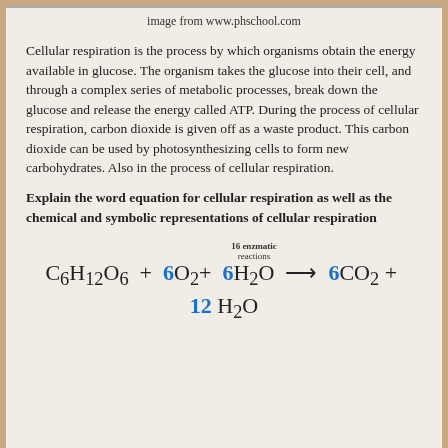image from www.phschool.com
Cellular respiration is the process by which organisms obtain the energy available in glucose. The organism takes the glucose into their cell, and through a complex series of metabolic processes, break down the glucose and release the energy called ATP. During the process of cellular respiration, carbon dioxide is given off as a waste product. This carbon dioxide can be used by photosynthesizing cells to form new carbohydrates. Also in the process of cellular respiration.
Explain the word equation for cellular respiration as well as the chemical and symbolic representations of cellular respiration